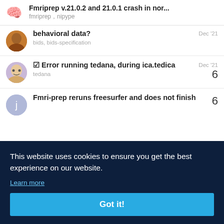Fmriprep v.21.0.2 and 21.0.1 crash in nor... | fmriprep, nipype
behavioral data? | bids, bids-specification | Dec '21
✓ Error running tedana, during ica.tedica | tedana | Dec '21 | 6
Fmri-prep reruns freesurfer and does not finish | Aug '21 | 6
This website uses cookies to ensure you get the best experience on our website.
Learn more
Got it!
4
Feb 15
view